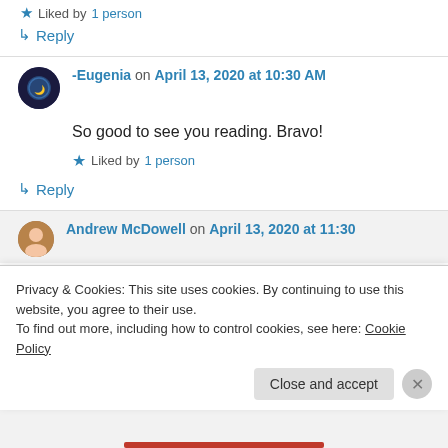★ Liked by 1 person
↳ Reply
-Eugenia on April 13, 2020 at 10:30 AM
So good to see you reading. Bravo!
★ Liked by 1 person
↳ Reply
Andrew McDowell on April 13, 2020 at 11:30
Privacy & Cookies: This site uses cookies. By continuing to use this website, you agree to their use.
To find out more, including how to control cookies, see here: Cookie Policy
Close and accept